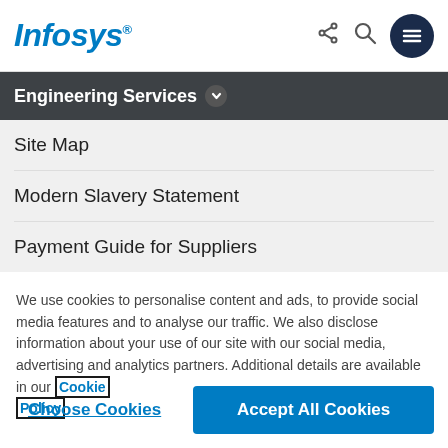Infosys
Engineering Services
Site Map
Modern Slavery Statement
Payment Guide for Suppliers
We use cookies to personalise content and ads, to provide social media features and to analyse our traffic. We also disclose information about your use of our site with our social media, advertising and analytics partners. Additional details are available in our Cookie Policy
Choose Cookies
Accept All Cookies